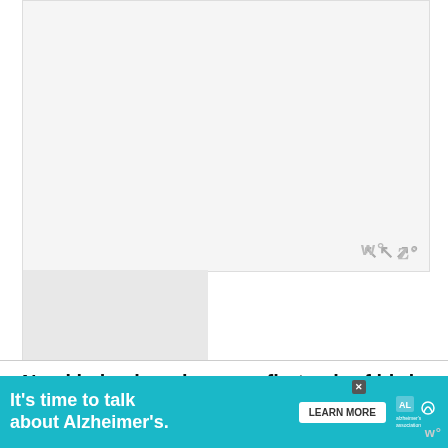[Figure (photo): Large light gray placeholder image area at top of page, with a small watermark logo 'w°' in the lower right corner]
[Figure (photo): Smaller gray image placeholder below and to the right of the main image, partial sidebar content]
Need help choosing your first pair of bird watching binoculars?
I have written several articles on choosing binoculars and then
[Figure (other): Advertisement banner: 'It's time to talk about Alzheimer's.' with LEARN MORE button and Alzheimer's Association logo on teal background]